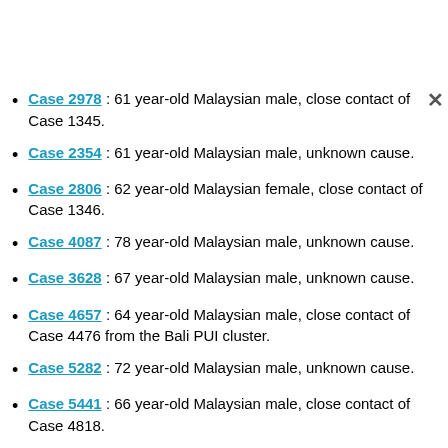Case 2978 : 61 year-old Malaysian male, close contact of Case 1345.
Case 2354 : 61 year-old Malaysian male, unknown cause.
Case 2806 : 62 year-old Malaysian female, close contact of Case 1346.
Case 4087 : 78 year-old Malaysian male, unknown cause.
Case 3628 : 67 year-old Malaysian male, unknown cause.
Case 4657 : 64 year-old Malaysian male, close contact of Case 4476 from the Bali PUI cluster.
Case 5282 : 72 year-old Malaysian male, unknown cause.
Case 5441 : 66 year-old Malaysian male, close contact of Case 4818.
Case 5539 : 82 year-old Malaysian male, unknown cause.